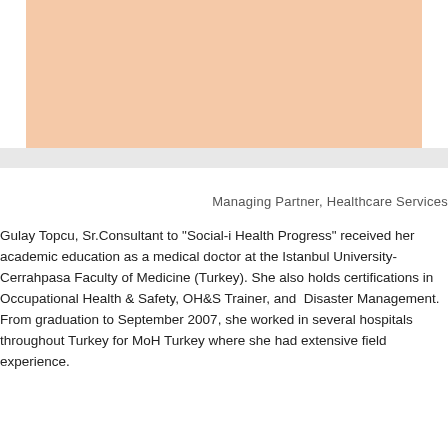[Figure (photo): Peach/salmon colored rectangular photo placeholder area at the top of the page]
Managing Partner, Healthcare Services
Gulay Topcu, Sr.Consultant to "Social-i Health Progress" received her academic education as a medical doctor at the Istanbul University-Cerrahpasa Faculty of Medicine (Turkey). She also holds certifications in Occupational Health & Safety, OH&S Trainer, and Disaster Management. From graduation to September 2007, she worked in several hospitals throughout Turkey for MoH Turkey where she had extensive field experience.